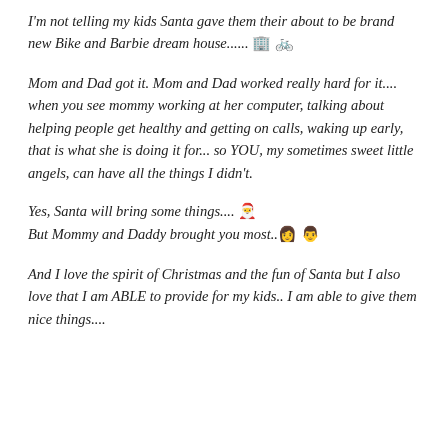I'm not telling my kids Santa gave them their about to be brand new Bike and Barbie dream house...... 🏢 🚲
Mom and Dad got it. Mom and Dad worked really hard for it.... when you see mommy working at her computer, talking about helping people get healthy and getting on calls, waking up early, that is what she is doing it for... so YOU, my sometimes sweet little angels, can have all the things I didn't.
Yes, Santa will bring some things.... 🎅
But Mommy and Daddy brought you most.. 👩 👨
And I love the spirit of Christmas and the fun of Santa but I also love that I am ABLE to provide for my kids.. I am able to give them nice things....